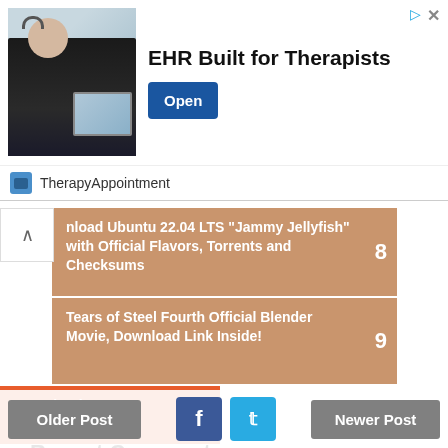[Figure (other): Advertisement banner: EHR Built for Therapists by TherapyAppointment with an Open button]
nload Ubuntu 22.04 LTS "Jammy Jellyfish" with Official Flavors, Torrents and Checksums   8
Tears of Steel Fourth Official Blender Movie, Download Link Inside!   9
A Basic Chroot Example in Ubuntu   10
Recent Comments
Hans Minekus I bought esp, for Linux/Deepin a new printer the Pixma...
Older Post   f   t   Newer Post